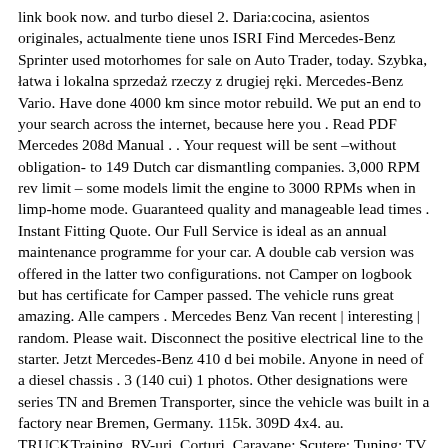link book now. and turbo diesel 2. Daria:cocina, asientos originales, actualmente tiene unos ISRI Find Mercedes-Benz Sprinter used motorhomes for sale on Auto Trader, today. Szybka, łatwa i lokalna sprzedaż rzeczy z drugiej ręki. Mercedes-Benz Vario. Have done 4000 km since motor rebuild. We put an end to your search across the internet, because here you . Read PDF Mercedes 208d Manual . . Your request will be sent –without obligation- to 149 Dutch car dismantling companies. 3,000 RPM rev limit – some models limit the engine to 3000 RPMs when in limp-home mode. Guaranteed quality and manageable lead times . Instant Fitting Quote. Our Full Service is ideal as an annual maintenance programme for your car. A double cab version was offered in the latter two configurations. not Camper on logbook but has certificate for Camper passed. The vehicle runs great amazing. Alle campers . Mercedes Benz Van recent | interesting | random. Please wait. Disconnect the positive electrical line to the starter. Jetzt Mercedes-Benz 410 d bei mobile. Anyone in need of a diesel chassis . 3 (140 cui) 1 photos. Other designations were series TN and Bremen Transporter, since the vehicle was built in a factory near Bremen, Germany. 115k. 309D 4x4. au. TRUCKTraining. RV-uri, Corturi, Caravane; Scutere; Tuning; TV Auto; Vehicole; Adauga anunt; Basculanta mercedes 410d retarata la 3. Guaranteed quality and manageable lead times ensure that you are able to get the perfect camper for you. Sales: (281) 492-5800. 115790. Weight (lbs) 7,820. mercedes 308d. 1991 Mercedes-Benz 410D! BRAND